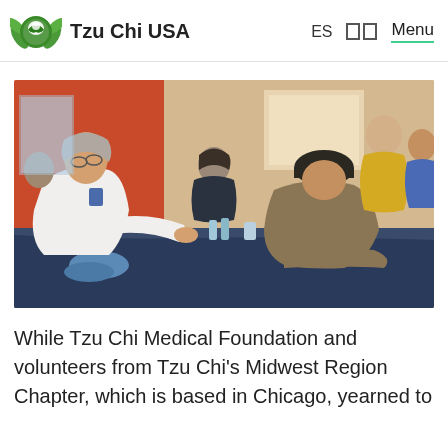Tzu Chi USA
[Figure (photo): Medical volunteer scene: a person in a white shirt leans across a dark-cloth-covered table examining or treating a patient wearing a brown jacket and dark cap. Other volunteers and patients visible in the background in a community health fair setting.]
While Tzu Chi Medical Foundation and volunteers from Tzu Chi's Midwest Region Chapter, which is based in Chicago, yearned to